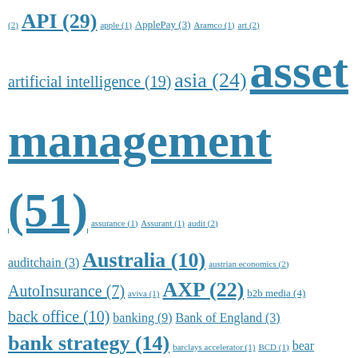(2) API (29) apple (1) ApplePay (3) Aramco (1) art (2) artificial intelligence (19) asia (24) asset management (51) assurance (1) Assurant (1) audit (2) auditchain (3) Australia (10) austrian economics (2) AutoInsurance (7) aviva (1) AXP (22) b2b media (4) back office (10) banking (9) Bank of England (3) bank strategy (14) barclays accelerator (1) BCD (1) bear market (1) BehavioralEconomics (4) big data (3) big tech (1) big tech moving into fintech (10) BirthCertificateAssets (1) BIS (2) bitcoin (701) bitcoin health check (3) bitcoin mainstream (4) BitcoinMaximalist (1) bitcoin mining (1) bitcoin regulation (1) bitpay (1) BKI (1) BlackKnight (1) Blockchain (700) BlockchainCapitalMarkets (2) BlockchainDeveloperPlatforms (1) blockstream (1) blue ocean (2) BNPL (1) bonds (1) BR (2) branch closures (1) brexit (1) Broadridge (2) brokers (1) bubble (2) bull